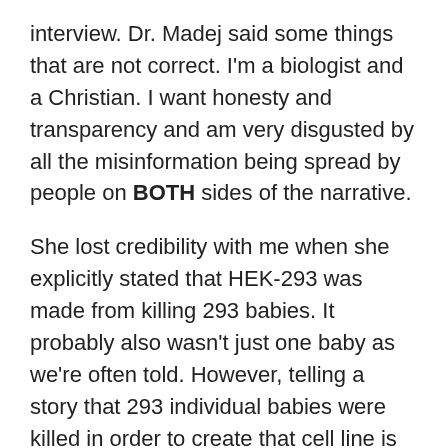interview. Dr. Madej said some things that are not correct. I'm a biologist and a Christian. I want honesty and transparency and am very disgusted by all the misinformation being spread by people on BOTH sides of the narrative.
She lost credibility with me when she explicitly stated that HEK-293 was made from killing 293 babies. It probably also wasn't just one baby as we're often told. However, telling a story that 293 individual babies were killed in order to create that cell line is making us (who are supposed to be on the side of truth) not even credible. If we want to be credible we need to be sure about the facts (and not even exaggerate).